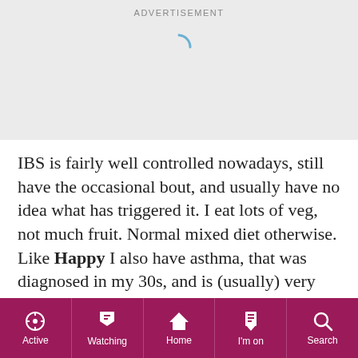[Figure (screenshot): Advertisement banner with loading spinner on grey background]
IBS is fairly well controlled nowadays, still have the occasional bout, and usually have no idea what has triggered it. I eat lots of veg, not much fruit. Normal mixed diet otherwise.
Like Happy I also have asthma, that was diagnosed in my 30s, and is (usually) very well controlled by medication.
Active | Watching | Home | I'm on | Search